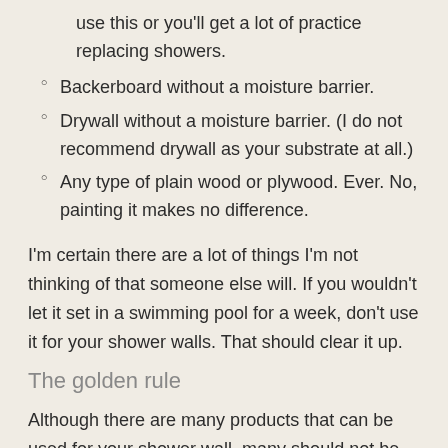use this or you'll get a lot of practice replacing showers.
Backerboard without a moisture barrier.
Drywall without a moisture barrier. (I do not recommend drywall as your substrate at all.)
Any type of plain wood or plywood. Ever. No, painting it makes no difference.
I'm certain there are a lot of things I'm not thinking of that someone else will. If you wouldn't let it set in a swimming pool for a week, don't use it for your shower walls. That should clear it up.
The golden rule
Although there are many products that can be used for your shower wall, many should not be. Regardless of which method you choose one thing to keep in mind is